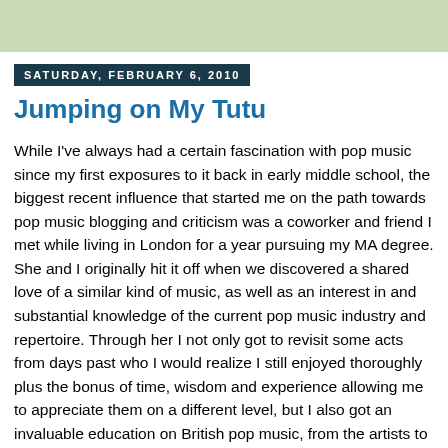[Figure (other): Green/sage colored banner header strip at top of page]
SATURDAY, FEBRUARY 6, 2010
Jumping on My Tutu
While I've always had a certain fascination with pop music since my first exposures to it back in early middle school, the biggest recent influence that started me on the path towards pop music blogging and criticism was a coworker and friend I met while living in London for a year pursuing my MA degree. She and I originally hit it off when we discovered a shared love of a similar kind of music, as well as an interest in and substantial knowledge of the current pop music industry and repertoire. Through her I not only got to revisit some acts from days past who I would realize I still enjoyed thoroughly plus the bonus of time, wisdom and experience allowing me to appreciate them on a different level, but I also got an invaluable education on British pop music, from the artists to the very consciousness. It was then I was first introduced to the likes of Amy Winehouse, Girls Aloud, Lily Allen, Estelle, Paolo Nutini, Arctic Monkeys, Jamelia, and